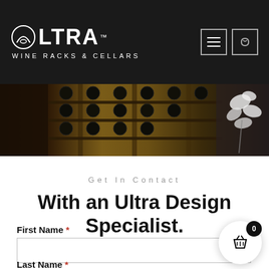Ultra Wine Racks & Cellars
[Figure (photo): Wine cellar with wooden wine racks holding bottles, and white orchid flowers on the right side]
Get In Contact
With an Ultra Design Specialist.
First Name *
Last Name *